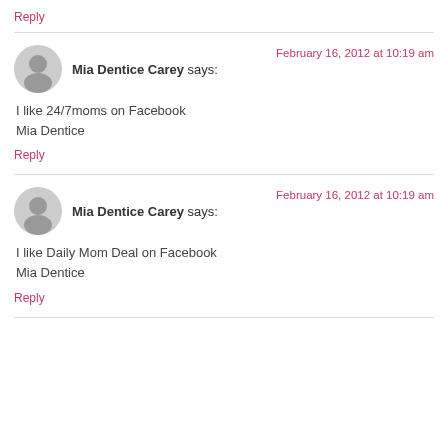Reply
Mia Dentice Carey says:
February 16, 2012 at 10:19 am
I like 24/7moms on Facebook
Mia Dentice
Reply
Mia Dentice Carey says:
February 16, 2012 at 10:19 am
I like Daily Mom Deal on Facebook
Mia Dentice
Reply